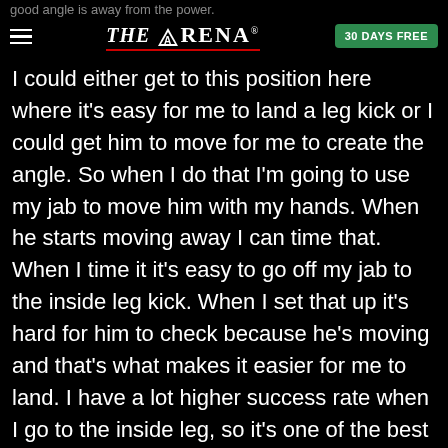good angle is away from the power.
THE ARENA® | 30 DAYS FREE
I could either get to this position here where it's easy for me to land a leg kick or I could get him to move for me to create the angle. So when I do that I'm going to use my jab to move him with my hands. When he starts moving away I can time that. When I time it it's easy to go off my jab to the inside leg kick. When I set that up it's hard for him to check because he's moving and that's what makes it easier for me to land. I have a lot higher success rate when I go to the inside leg, so it's one of the best setups that I could use to set up the right hand. So it's easy for me to get him to go this way with my jab to avoid the right hand.